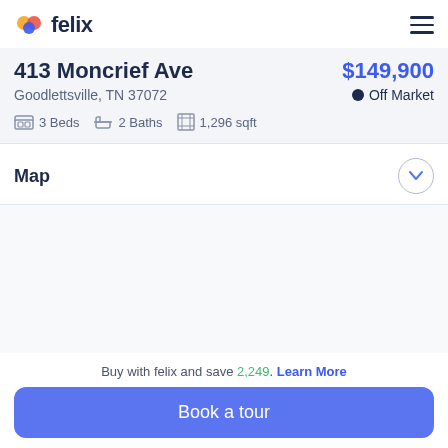felix
413 Moncrief Ave
$149,900
Goodlettsville, TN 37072
Off Market
3 Beds  2 Baths  1,296 sqft
Map
[Figure (map): Empty map area showing property location]
Buy with felix and save 2,249. Learn More
Book a tour